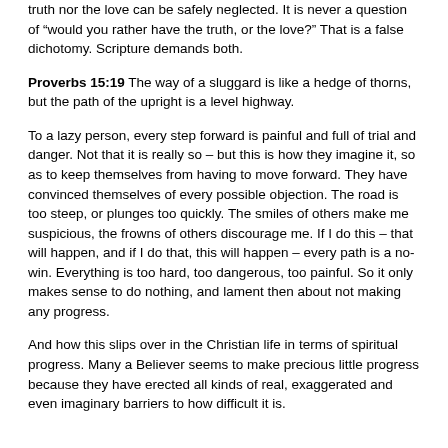truth nor the love can be safely neglected. It is never a question of "would you rather have the truth, or the love?" That is a false dichotomy. Scripture demands both.
Proverbs 15:19 The way of a sluggard is like a hedge of thorns, but the path of the upright is a level highway.
To a lazy person, every step forward is painful and full of trial and danger. Not that it is really so – but this is how they imagine it, so as to keep themselves from having to move forward. They have convinced themselves of every possible objection. The road is too steep, or plunges too quickly. The smiles of others make me suspicious, the frowns of others discourage me. If I do this – that will happen, and if I do that, this will happen – every path is a no-win. Everything is too hard, too dangerous, too painful. So it only makes sense to do nothing, and lament then about not making any progress.
And how this slips over in the Christian life in terms of spiritual progress. Many a Believer seems to make precious little progress because they have erected all kinds of real, exaggerated and even imaginary barriers to how difficult it is.